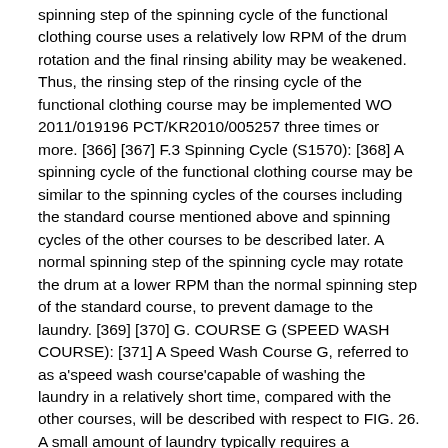spinning step of the spinning cycle of the functional clothing course uses a relatively low RPM of the drum rotation and the final rinsing ability may be weakened. Thus, the rinsing step of the rinsing cycle of the functional clothing course may be implemented WO 2011/019196 PCT/KR2010/005257 three times or more. [366] [367] F.3 Spinning Cycle (S1570): [368] A spinning cycle of the functional clothing course may be similar to the spinning cycles of the courses including the standard course mentioned above and spinning cycles of the other courses to be described later. A normal spinning step of the spinning cycle may rotate the drum at a lower RPM than the normal spinning step of the standard course, to prevent damage to the laundry. [369] [370] G. COURSE G (SPEED WASH COURSE): [371] A Speed Wash Course G, referred to as a'speed wash course'capable of washing the laundry in a relatively short time, compared with the other courses, will be described with respect to FIG. 26. A small amount of laundry typically requires a substantially short time in comparison to a large amount of laundry. In the case of a small amount of laundry, an unnecessarily long amount of time may be taken to implement overall washing. Because of that, a course used to wash a small amount of laundry